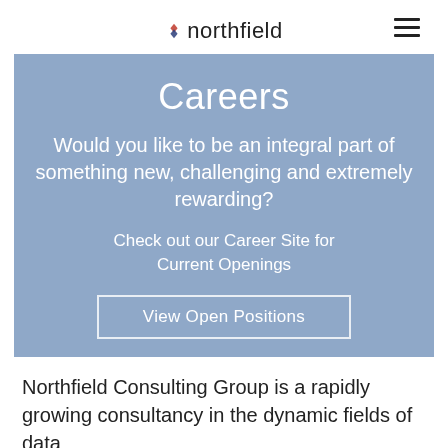northfield
Careers
Would you like to be an integral part of something new, challenging and extremely rewarding?
Check out our Career Site for Current Openings
View Open Positions
Northfield Consulting Group is a rapidly growing consultancy in the dynamic fields of data